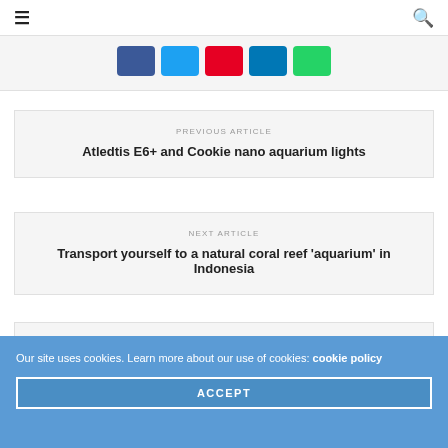≡  🔍
[Figure (other): Social share buttons: Facebook (blue), Twitter (light blue), Pinterest (red), LinkedIn (dark blue), WhatsApp (green)]
PREVIOUS ARTICLE
Atledtis E6+ and Cookie nano aquarium lights
NEXT ARTICLE
Transport yourself to a natural coral reef 'aquarium' in Indonesia
SITE SPONSORS
Our site uses cookies. Learn more about our use of cookies: cookie policy
ACCEPT